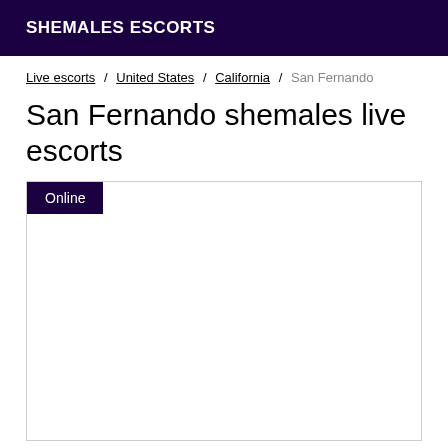SHEMALES ESCORTS
Live escorts / United States / California / San Fernando
San Fernando shemales live escorts
[Figure (other): Listing card area with Online badge and empty white content box]